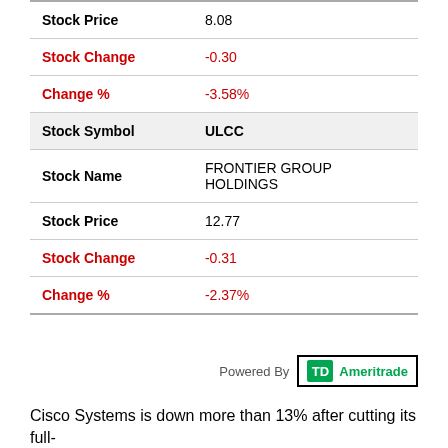| Field | Value |
| --- | --- |
| Stock Price | 8.08 |
| Stock Change | -0.30 |
| Change % | -3.58% |
| Stock Symbol | ULCC |
| Stock Name | FRONTIER GROUP HOLDINGS |
| Stock Price | 12.77 |
| Stock Change | -0.31 |
| Change % | -2.37% |
Powered By TD Ameritrade
Cisco Systems is down more than 13% after cutting its full-